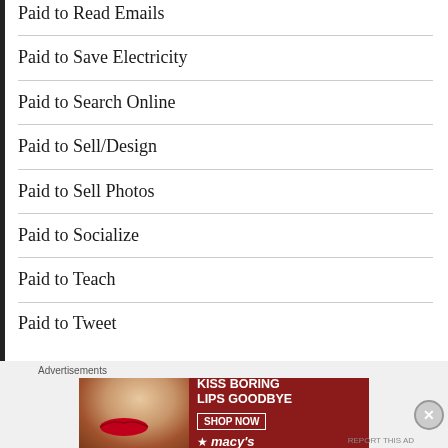Paid to Read Emails
Paid to Save Electricity
Paid to Search Online
Paid to Sell/Design
Paid to Sell Photos
Paid to Socialize
Paid to Teach
Paid to Tweet
[Figure (infographic): Macy's advertisement banner: red background, woman's face with red lipstick, text 'KISS BORING LIPS GOODBYE', SHOP NOW button, Macy's star logo]
Advertisements